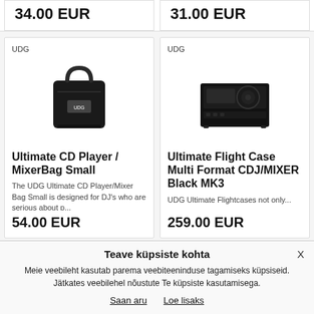34.00 EUR
31.00 EUR
UDG
[Figure (photo): UDG black messenger/shoulder bag product photo]
Ultimate CD Player / MixerBag Small
The UDG Ultimate CD Player/Mixer Bag Small is designed for DJ's who are serious about p...
54.00 EUR
UDG
[Figure (photo): UDG black flight case for CDJ/Mixer product photo]
Ultimate Flight Case Multi Format CDJ/MIXER Black MK3
UDG Ultimate Flightcases not only...
259.00 EUR
Teave küpsiste kohta
Meie veebileht kasutab parema veebiteeninduse tagamiseks küpsiseid. Jätkates veebilehel nõustute Te küpsiste kasutamisega.
Saan aru   Loe lisaks